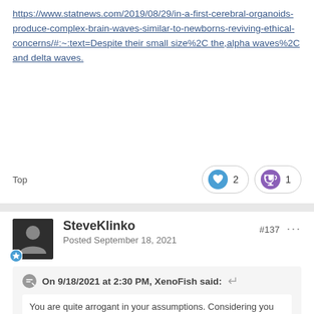https://www.statnews.com/2019/08/29/in-a-first-cerebral-organoids-produce-complex-brain-waves-similar-to-newborns-reviving-ethical-concerns/#:~:text=Despite their small size%2C the,alpha waves%2C and delta waves.
Top
2
1
SteveKlinko
Posted September 18, 2021
#137
On 9/18/2021 at 2:30 PM, XenoFish said:
You are quite arrogant in your assumptions. Considering you invite discussion yet basically call others either ignorant or stupid for not seeing things your way. Just like an engineer. Big brain...